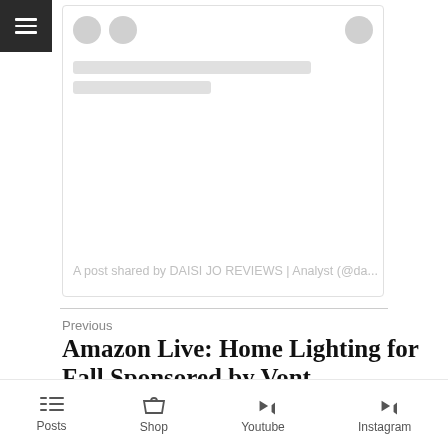[Figure (screenshot): Instagram embed card showing profile avatars and skeleton loading bars with caption text 'A post shared by DAISI JO REVIEWS | Analyst (@da...']
A post shared by DAISI JO REVIEWS | Analyst (@da...
Previous
Amazon Live: Home Lighting for Fall Sponsored by Vont
Posts  Shop  Youtube  Instagram